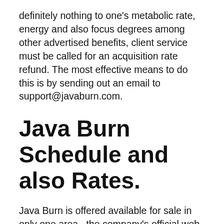definitely nothing to one's metabolic rate, energy and also focus degrees among other advertised benefits, client service must be called for an acquisition rate refund. The most effective means to do this is by sending out an email to support@javaburn.com.
Java Burn Schedule and also Rates.
Java Burn is offered available for sale in only one area– the company's official web site. You can not acquire it from websites as well as on-line marketplaces like Amazon.com or Walmart. While this limits your options, it secures you from falling prey to frauds entailing Java Burn. If you locate this item